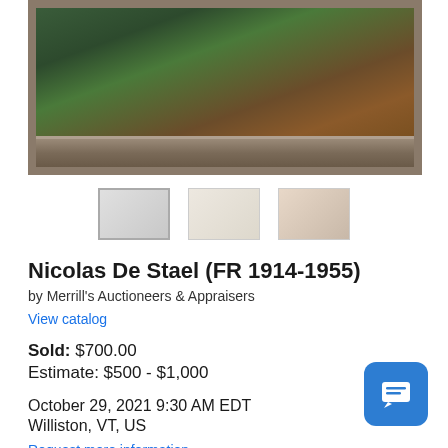[Figure (photo): Painting in a grey/brown ornate frame showing a dark landscape with green and brown tones, framed artwork]
[Figure (photo): Three thumbnail images of the painting for image gallery navigation]
Nicolas De Stael (FR 1914-1955)
by Merrill's Auctioneers & Appraisers
View catalog
Sold: $700.00
Estimate: $500 - $1,000
October 29, 2021 9:30 AM EDT
Williston, VT, US
Request more information